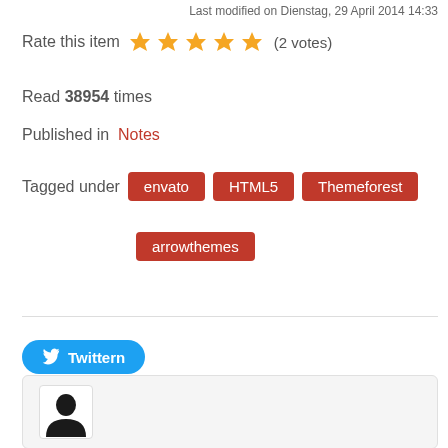Last modified on Dienstag, 29 April 2014 14:33
Rate this item  (2 votes)
Read 38954 times
Published in  Notes
Tagged under   envato   HTML5   Themeforest
arrowthemes
[Figure (other): Twitter share button labeled 'Twittern']
[Figure (photo): Author profile picture placeholder with silhouette of a person]